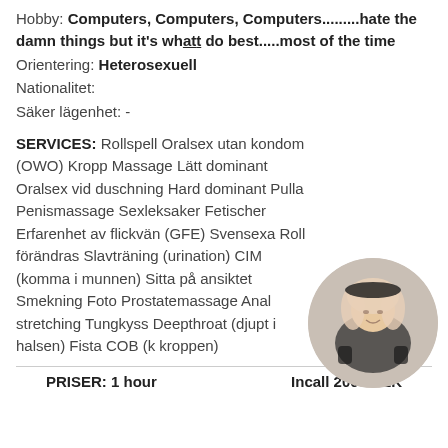Hobby: Computers, Computers, Computers.........hate the damn things but it's what do best.....most of the time
Orientering: Heterosexuell
Nationalitet:
Säker lägenhet: -
SERVICES: Rollspell Oralsex utan kondom (OWO) Kropp Massage Lätt dominant Oralsex vid duschning Hard dominant Pulla Penismassage Sexleksaker Fetischer Erfarenhet av flickvän (GFE) Svensexa Roll förändras Slavträning (urination) CIM (komma i munnen) Sitta på ansiktet Smekning Foto Prostatemassage Anal stretching Tungkyss Deepthroat (djupt i halsen) Fista COB (k kroppen)
[Figure (photo): Circular cropped photo of a blonde woman posing]
PRISER: 1 hour          Incall 2000 SEK